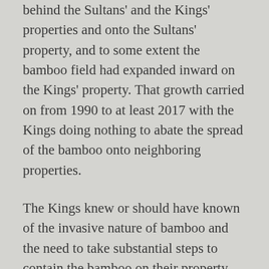behind the Sultans' and the Kings' properties and onto the Sultans' property, and to some extent the bamboo field had expanded inward on the Kings' property. That growth carried on from 1990 to at least 2017 with the Kings doing nothing to abate the spread of the bamboo onto neighboring properties.
The Kings knew or should have known of the invasive nature of bamboo and the need to take substantial steps to contain the bamboo on their property. Certainly, they were aware of what needed to be done in 2017 when the Sultans' voiced their objections and insisted that the bamboo be removed from